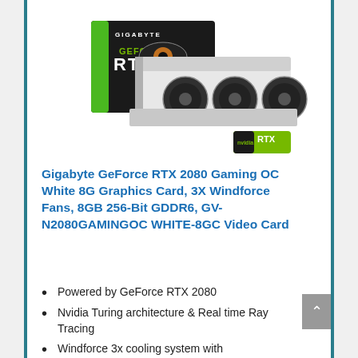[Figure (photo): Gigabyte GeForce RTX 2080 Gaming OC White graphics card product photo showing the white triple-fan card alongside its retail box with GIGABYTE branding and GEFORCE RTX logo. An NVIDIA RTX badge is visible in the lower right.]
Gigabyte GeForce RTX 2080 Gaming OC White 8G Graphics Card, 3X Windforce Fans, 8GB 256-Bit GDDR6, GV-N2080GAMINGOC WHITE-8GC Video Card
Powered by GeForce RTX 2080
Nvidia Turing architecture & Real time Ray Tracing
Windforce 3x cooling system with